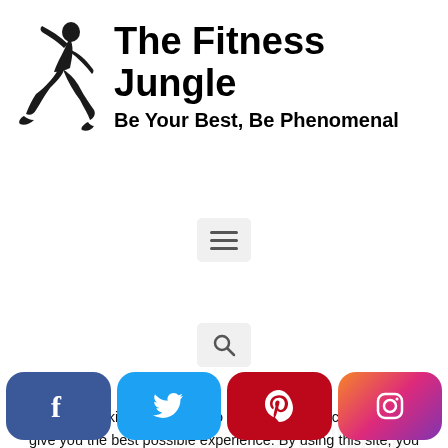[Figure (logo): The Fitness Jungle logo with running figure silhouette, site title 'The Fitness Jungle' and tagline 'Be Your Best, Be Phenomenal']
[Figure (other): Hamburger menu button (three horizontal lines) in a light grey rounded box]
[Figure (other): Search icon (magnifying glass) in a light grey rounded box]
[Figure (photo): Partial view of article preview showing a bald person's head and text 'Ben "BPAK"']
We use cookies on this site to optimize site functionality and give you the best possible experience. By using this site, you accept our use of cookies. Learn more
[Figure (other): Social media buttons bar: Facebook (blue), Twitter (light blue), Pinterest (red), Instagram (gradient)]